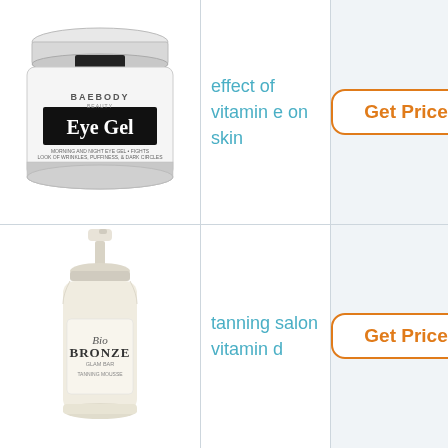[Figure (photo): Baebody Beauty Eye Gel jar product photo]
effect of vitamin e on skin
Get Price
[Figure (photo): Bio Bronze Glam Bar Tanning Mousse bottle product photo]
tanning salon vitamin d
Get Price